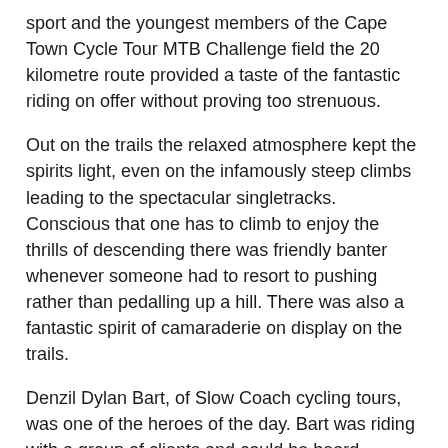sport and the youngest members of the Cape Town Cycle Tour MTB Challenge field the 20 kilometre route provided a taste of the fantastic riding on offer without proving too strenuous.
Out on the trails the relaxed atmosphere kept the spirits light, even on the infamously steep climbs leading to the spectacular singletracks. Conscious that one has to climb to enjoy the thrills of descending there was friendly banter whenever someone had to resort to pushing rather than pedalling up a hill. There was also a fantastic spirit of camaraderie on display on the trails.
Denzil Dylan Bart, of Slow Coach cycling tours, was one of the heroes of the day. Bart was riding with a group of clients and could be heard encouraging and cajoling them around the 40 kilometre route. At the Delheim water point, while waiting for all his riders to catch up, he provided a fellow rider with emergency bush-mechanic services. Bart helped convert the damaged bike to a single speed after the other rider's derailleur had been torn off in a fall. Once he had helped out Bart stood enjoying the summer drizzle. "I'm just appreciating the petrichor" Bart confessed. "It is the smell of the earth after the rain."
After the heat of the 2018 edition the little bit of rain was welcomed by all. Father and daughter Andre and Taryn-Maie Wille